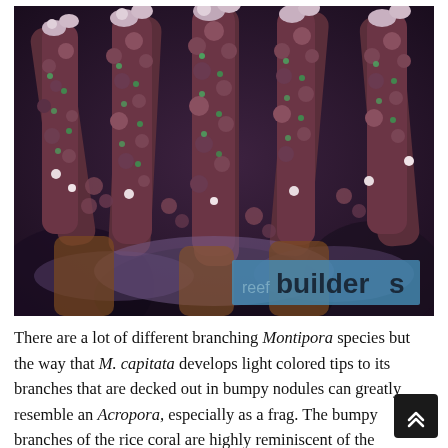[Figure (photo): Close-up photograph of Montipora capitata coral with purple/mauve branching structure covered in bumpy nodules and light-colored tips, with a 'reef builders' watermark overlay in the bottom right corner.]
There are a lot of different branching Montipora species but the way that M. capitata develops light colored tips to its branches that are decked out in bumpy nodules can greatly resemble an Acropora, especially as a frag. The bumpy branches of the rice coral are highly reminiscent of the radial corallites of Acropora corals but the lack of a defined axial